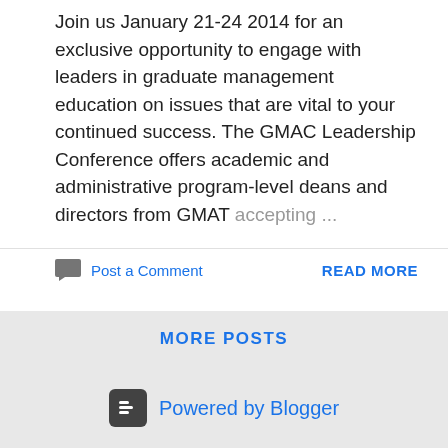Join us January 21-24 2014 for an exclusive opportunity to engage with leaders in graduate management education on issues that are vital to your continued success. The GMAC Leadership Conference offers academic and administrative program-level deans and directors from GMAT accepting ...
Post a Comment
READ MORE
MORE POSTS
Powered by Blogger
Theme images by Michael Elkan
Posts are considered opinions and solely the property and responsibility of the individual authors